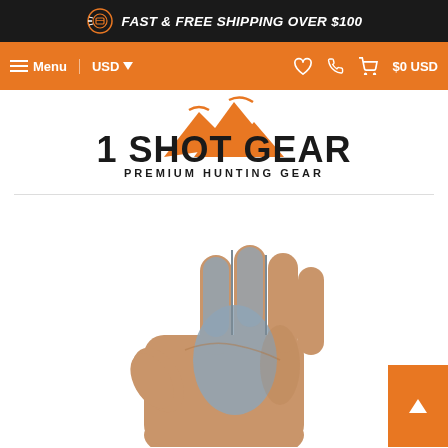FAST & FREE SHIPPING OVER $100
Menu | USD | $0 USD
[Figure (logo): 1 Shot Gear - Premium Hunting Gear logo with orange mountain silhouette and bold black text]
[Figure (photo): A tan leather archery or hunting glove with blue/gray padding on the palm and finger separators, shown from the back/side angle against white background]